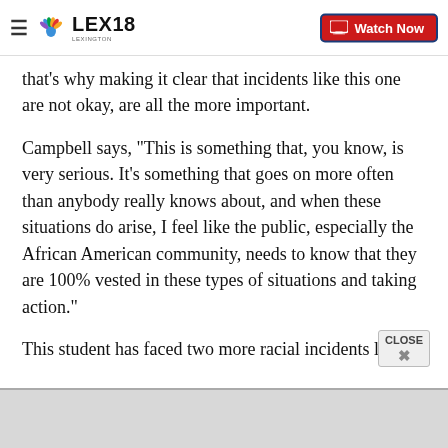LEX18 | Watch Now
that's why making it clear that incidents like this one are not okay, are all the more important.
Campbell says, "This is something that, you know, is very serious. It's something that goes on more often than anybody really knows about, and when these situations do arise, I feel like the public, especially the African American community, needs to know that they are 100% vested in these types of situations and taking action."
This student has faced two more racial incidents li